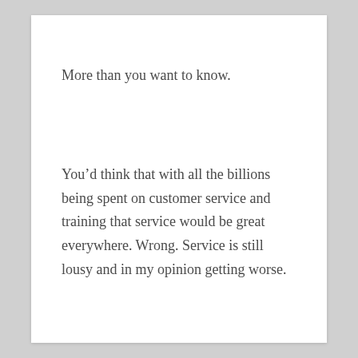More than you want to know.
You’d think that with all the billions being spent on customer service and training that service would be great everywhere. Wrong. Service is still lousy and in my opinion getting worse.